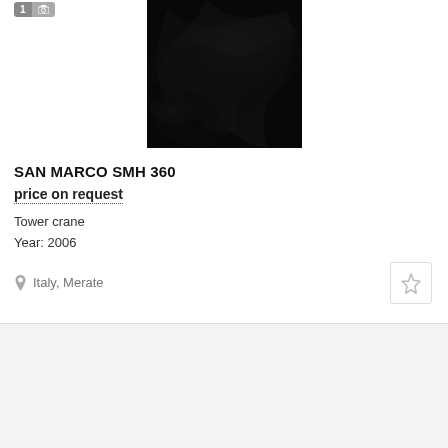[Figure (photo): Black fabric/cloth with glossy folds, used as product listing image. Has image counter badge showing '1' with camera icon.]
SAN MARCO SMH 360
price on request
Tower crane
Year: 2006
Italy, Merate